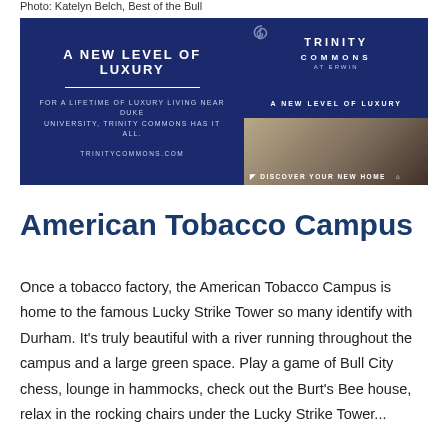Photo: Katelyn Belch, Best of the Bull
[Figure (illustration): Trinity Commons advertisement banner. Left side has dark navy background with text 'A NEW LEVEL OF LUXURY' and 'FOR A LIFETIME OF LUXURY LIVING NEAR DUKE UNIVERSITY, TRINITY COMMONS HAS IT ALL.' and 'TRINITYCOMMONS.COM'. Right side shows the Trinity Commons logo and interior room photos with text 'A NEW LEVEL OF LUXURY' and 'DISCOVER YOUR NEW HOME'.]
American Tobacco Campus
Once a tobacco factory, the American Tobacco Campus is home to the famous Lucky Strike Tower so many identify with Durham. It's truly beautiful with a river running throughout the campus and a large green space. Play a game of Bull City chess, lounge in hammocks, check out the Burt's Bee house, relax in the rocking chairs under the Lucky Strike Tower...